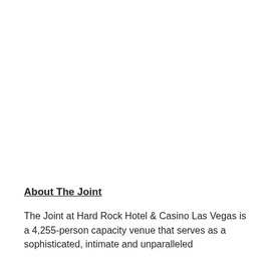About The Joint
The Joint at Hard Rock Hotel & Casino Las Vegas is a 4,255-person capacity venue that serves as a sophisticated, intimate and unparalleled